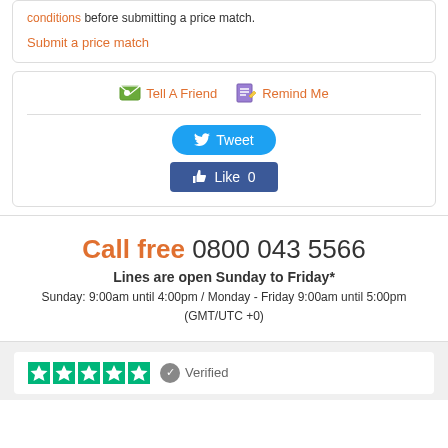conditions before submitting a price match.
Submit a price match
Tell A Friend   Remind Me
Tweet
Like 0
Call free 0800 043 5566
Lines are open Sunday to Friday*
Sunday: 9:00am until 4:00pm / Monday - Friday 9:00am until 5:00pm (GMT/UTC +0)
Verified